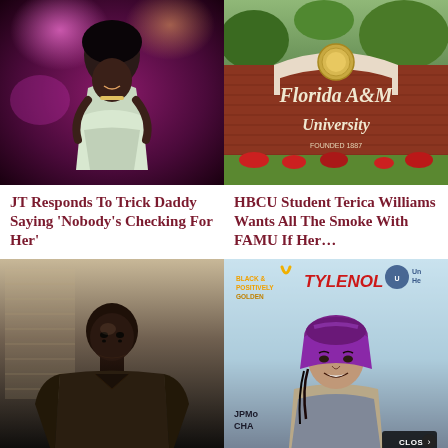[Figure (photo): Female rap artist JT performing on stage with pink/purple lighting, wearing white outfit]
JT Responds To Trick Daddy Saying 'Nobody's Checking For Her'
[Figure (photo): Florida A&M University entrance sign on brick wall with green trees in background]
HBCU Student Terica Williams Wants All The Smoke With FAMU If Her…
[Figure (photo): Young Black man in dark clothing against light background]
[Figure (photo): Young woman with purple headscarf at event with Black & Positively Golden, Tylenol, JPMorgan Chase, UnitedHealthcare banners]